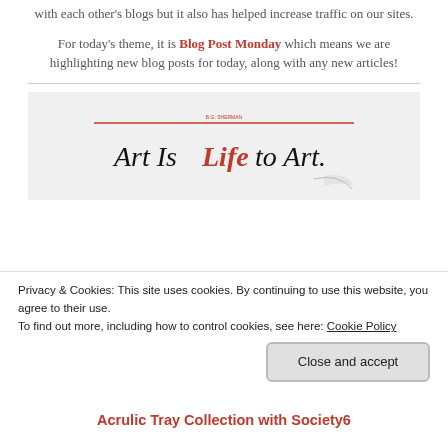with each other's blogs but it also has helped increase traffic on our sites.
For today's theme, it is Blog Post Monday which means we are highlighting new blog posts for today, along with any new articles!
[Figure (logo): Art Is Life To Art logo with a red horizontal line above cursive text reading 'Art Is Life to Art']
Privacy & Cookies: This site uses cookies. By continuing to use this website, you agree to their use. To find out more, including how to control cookies, see here: Cookie Policy
Close and accept
Acrulic Tray Collection with Society6